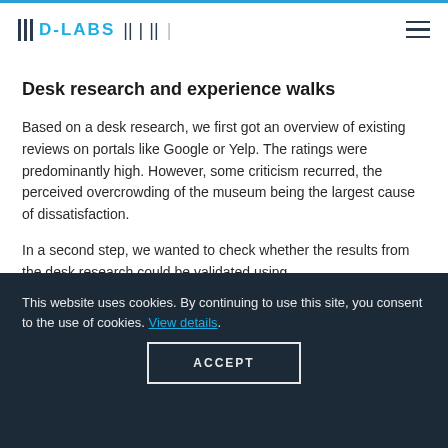D-LABS
Desk research and experience walks
Based on a desk research, we first got an overview of existing reviews on portals like Google or Yelp. The ratings were predominantly high. However, some criticism recurred, the perceived overcrowding of the museum being the largest cause of dissatisfaction.
In a second step, we wanted to check whether the results from the desk research could be validated using
This website uses cookies. By continuing to use this site, you consent to the use of cookies. View details.